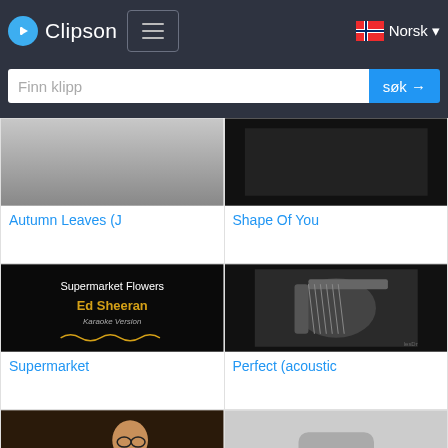Clipson — Finn klipp søk →  Norsk
[Figure (screenshot): Thumbnail for Autumn Leaves (J) — grey gradient video thumbnail]
Autumn Leaves (J
[Figure (screenshot): Thumbnail for Shape Of You — dark video thumbnail]
Shape Of You
[Figure (screenshot): Supermarket Flowers Ed Sheeran Karaoke Version thumbnail — black background with text]
Supermarket
[Figure (screenshot): Perfect (acoustic) — black and white photo of guitar player thumbnail]
Perfect (acoustic
[Figure (screenshot): Shape Of You — Ed Sheeran vevo thumbnail, person smiling]
Shape Of You
[Figure (screenshot): Shape of You — grey placeholder thumbnail with video icon]
Shape of You